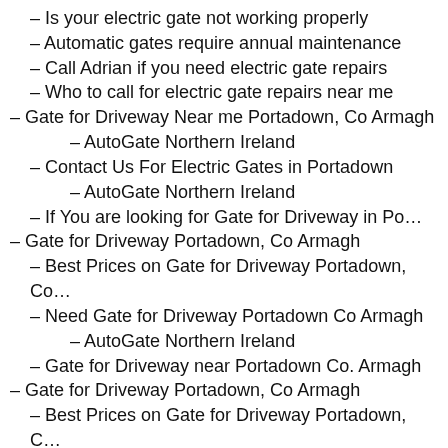– Is your electric gate not working properly
– Automatic gates require annual maintenance
– Call Adrian if you need electric gate repairs
– Who to call for electric gate repairs near me
– Gate for Driveway Near me Portadown, Co Armagh
– AutoGate Northern Ireland
– Contact Us For Electric Gates in Portadown
– AutoGate Northern Ireland
– If You are looking for Gate for Driveway in Po…
– Gate for Driveway Portadown, Co Armagh
– Best Prices on Gate for Driveway Portadown, Co…
– Need Gate for Driveway Portadown Co Armagh
– AutoGate Northern Ireland
– Gate for Driveway near Portadown Co. Armagh
– Gate for Driveway Portadown, Co Armagh
– Best Prices on Gate for Driveway Portadown, C…
– Gate for Driveway in Portadown, Co Armagh